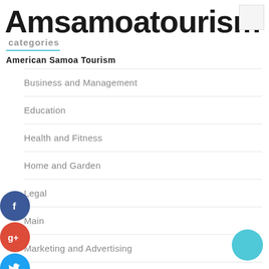Amsamoatourism
categories
American Samoa Tourism
Business and Management
Education
Health and Fitness
Home and Garden
Legal
Main
Marketing and Advertising